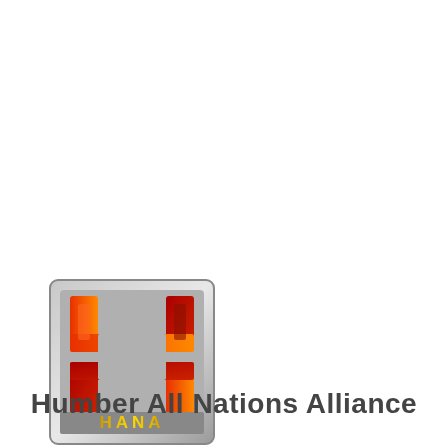[Figure (logo): HANA logo — a square badge with grey metallic border, containing an interlocking H-shaped symbol in red-to-orange gradient tones, with the text HANA in yellow at the bottom of the badge.]
Humber All Nations Alliance